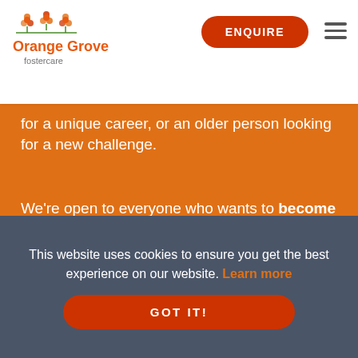Orange Grove fostercare – ENQUIRE button and hamburger menu
[Figure (logo): Orange Grove fostercare logo with orange flower icons and text]
for a unique career, or an older person looking for a new challenge.
We're open to everyone who wants to become a foster parent and provide all the training and support you need to become successful in foster care.
START YOUR JOURNEY
This website uses cookies to ensure you get the best experience on our website. Learn more
GOT IT!